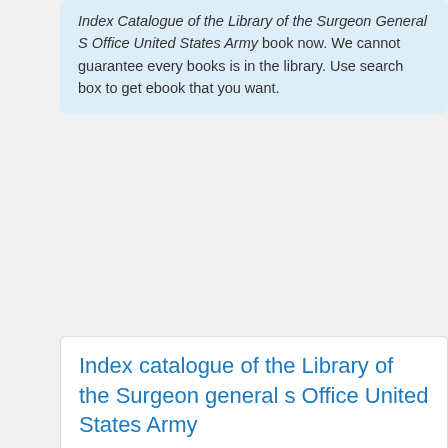Index Catalogue of the Library of the Surgeon General S Office United States Army book now. We cannot guarantee every books is in the library. Use search box to get ebook that you want.
Index catalogue of the Library of the Surgeon general s Office United States Army
[Figure (illustration): Scanned title page of the Index-Catalogue of the Library of the Surgeon General's Office, showing faded library stamp at top, title text in serif font, and small additional text lines below including 'Authors and Subjects']